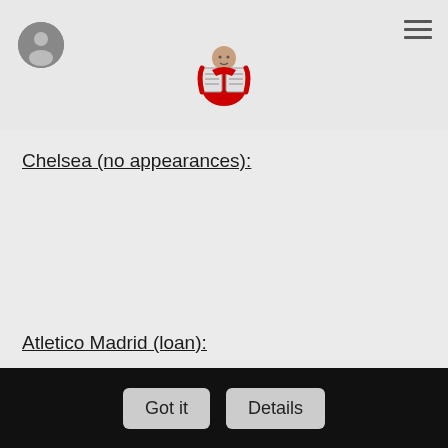[Figure (logo): App logo: person reading a newspaper, wearing red, stylized icon]
Chelsea (no appearances):
Atletico Madrid (loan):
2011/2012 season - 52 appearances, 23 clean sheets.